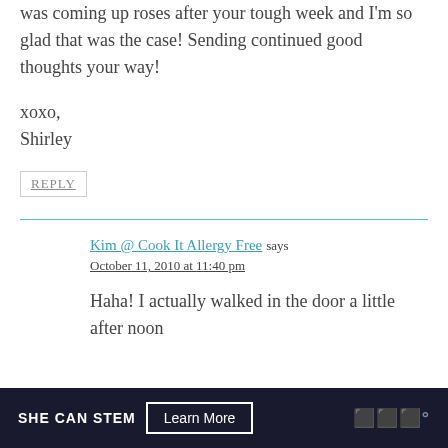was coming up roses after your tough week and I'm so glad that was the case! Sending continued good thoughts your way!
xoxo,
Shirley
REPLY
Kim @ Cook It Allergy Free says
October 11, 2010 at 11:40 pm
Haha! I actually walked in the door a little after noon...
SHE CAN STEM  Learn More